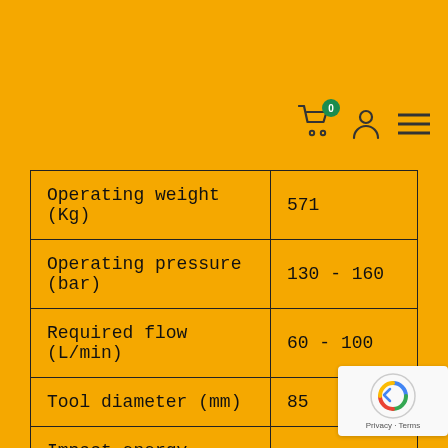[Figure (infographic): Yellow header bar with shopping cart icon (badge showing 0), user/person icon, and hamburger menu icon]
| Operating weight (Kg) | 571 |
| Operating pressure (bar) | 130 - 160 |
| Required flow (L/min) | 60 - 100 |
| Tool diameter (mm) | 85 |
| Impact energy (joules) | 1200 |
| … | 17 |